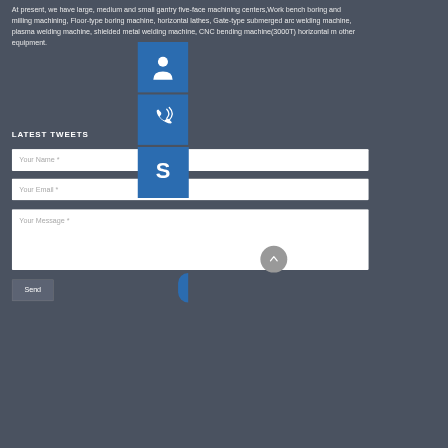At present, we have large, medium and small gantry five-face machining centers,Work bench boring and milling machining, Floor-type boring machine, horizontal lathes, Gate-type submerged arc welding machine, plasma welding machine, shielded metal welding machine, CNC bending machine(3000T) horizontal m other equipment.
LATEST TWEETS
[Figure (infographic): Three blue square icon buttons stacked vertically on the right side: a headset/customer service icon, a telephone with signal waves icon, and a Skype logo icon.]